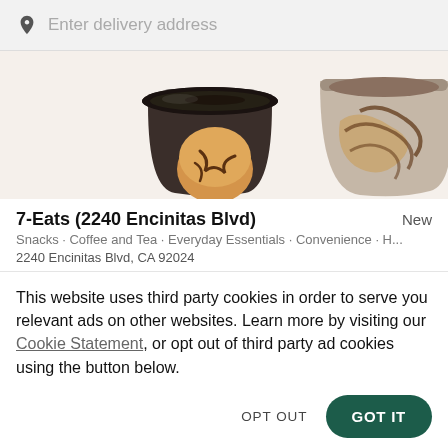Enter delivery address
[Figure (photo): Photo of a dark coffee cup with ice cream scoops and a chocolate sundae cup]
7-Eats (2240 Encinitas Blvd)
New
Snacks · Coffee and Tea · Everyday Essentials · Convenience · H...
2240 Encinitas Blvd, CA 92024
This website uses third party cookies in order to serve you relevant ads on other websites. Learn more by visiting our Cookie Statement, or opt out of third party ad cookies using the button below.
OPT OUT   GOT IT